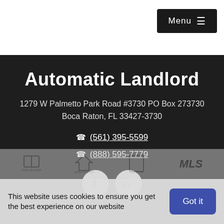Menu ≡
Automatic Landlord
1279 W Palmetto Park Road #3730 PO Box 273730
Boca Raton, FL 33427-3730
(561) 395-5599
(888) 595-7779
[Figure (other): Facebook and LinkedIn social media icons in circular grey buttons]
[Figure (other): Fair Lender, Equal Housing, Realtor, and MLS logos strip]
This website uses cookies to ensure you get the best experience on our website